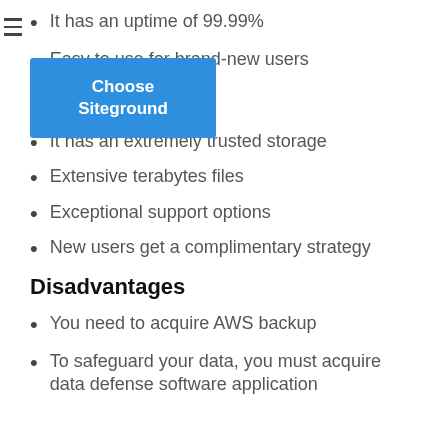It has an uptime of 99.99%
Easy to use for brand-new users
[Figure (other): Blue button with text 'Choose Siteground']
It has an extremely trusted storage
Extensive terabytes files
Exceptional support options
New users get a complimentary strategy
Disadvantages
You need to acquire AWS backup
To safeguard your data, you must acquire data defense software application